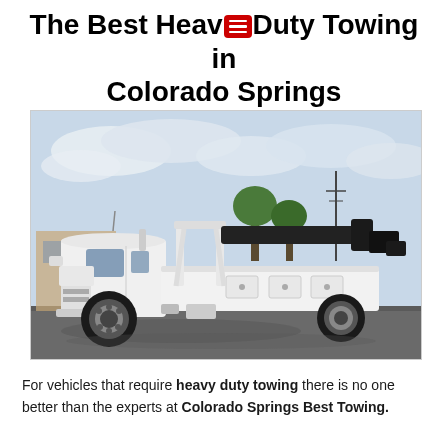The Best Heavy Duty Towing in Colorado Springs
[Figure (photo): A white heavy-duty tow truck with a wrecker boom/wheel-lift apparatus on the rear, parked in a parking lot with a cloudy sky in the background.]
For vehicles that require heavy duty towing there is no one better than the experts at Colorado Springs Best Towing.